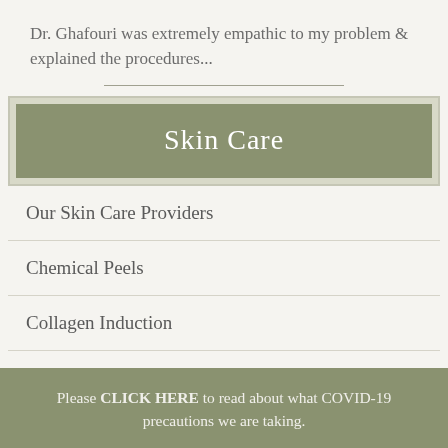Dr. Ghafouri was extremely empathic to my problem & explained the procedures...
Skin Care
Our Skin Care Providers
Chemical Peels
Collagen Induction
Facials
Please CLICK HERE to read about what COVID-19 precautions we are taking.